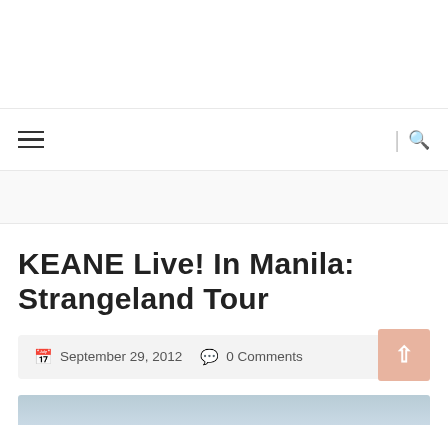≡  |  🔍
KEANE Live! In Manila: Strangeland Tour
September 29, 2012  0 Comments
[Figure (photo): Partial view of a photo at the bottom of the page, showing a light blue/grey sky or outdoor scene]